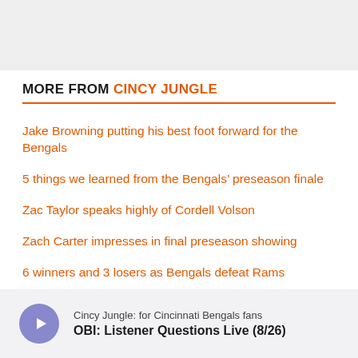[Figure (photo): Top image placeholder area, light gray background]
MORE FROM CINCY JUNGLE
Jake Browning putting his best foot forward for the Bengals
5 things we learned from the Bengals' preseason finale
Zac Taylor speaks highly of Cordell Volson
Zach Carter impresses in final preseason showing
6 winners and 3 losers as Bengals defeat Rams
Bengals defeat Rams 16-7 for first preseason win of 2022
Cincy Jungle: for Cincinnati Bengals fans
OBI: Listener Questions Live (8/26)